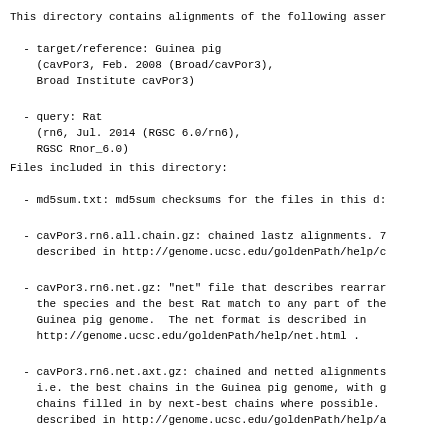This directory contains alignments of the following asser
- target/reference: Guinea pig
    (cavPor3, Feb. 2008 (Broad/cavPor3),
    Broad Institute cavPor3)
- query: Rat
    (rn6, Jul. 2014 (RGSC 6.0/rn6),
    RGSC Rnor_6.0)
Files included in this directory:
- md5sum.txt: md5sum checksums for the files in this d:
- cavPor3.rn6.all.chain.gz: chained lastz alignments. 7
    described in http://genome.ucsc.edu/goldenPath/help/c
- cavPor3.rn6.net.gz: "net" file that describes rearrar
    the species and the best Rat match to any part of the
    Guinea pig genome.  The net format is described in
    http://genome.ucsc.edu/goldenPath/help/net.html .
- cavPor3.rn6.net.axt.gz: chained and netted alignments
    i.e. the best chains in the Guinea pig genome, with g
    chains filled in by next-best chains where possible.
    described in http://genome.ucsc.edu/goldenPath/help/a
- cavPor3.rn6.synNet.maf.gz - filtered net file for syn
         only, in MAF format, see also, description
         http://genome.ucsc.edu/FAQ/FAQformat.html